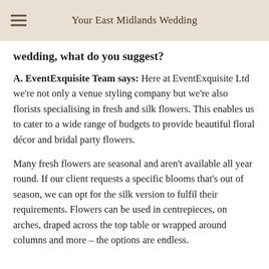Your East Midlands Wedding
wedding, what do you suggest?
A. EventExquisite Team says: Here at EventExquisite Ltd we're not only a venue styling company but we're also florists specialising in fresh and silk flowers. This enables us to cater to a wide range of budgets to provide beautiful floral décor and bridal party flowers.
Many fresh flowers are seasonal and aren't available all year round. If our client requests a specific blooms that's out of season, we can opt for the silk version to fulfil their requirements. Flowers can be used in centrepieces, on arches, draped across the top table or wrapped around columns and more – the options are endless.